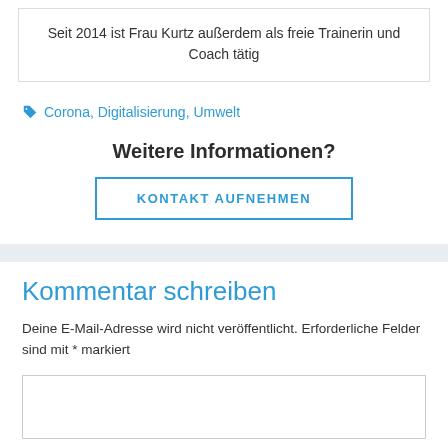Seit 2014 ist Frau Kurtz außerdem als freie Trainerin und Coach tätig
Corona, Digitalisierung, Umwelt
Weitere Informationen?
KONTAKT AUFNEHMEN
Kommentar schreiben
Deine E-Mail-Adresse wird nicht veröffentlicht. Erforderliche Felder sind mit * markiert